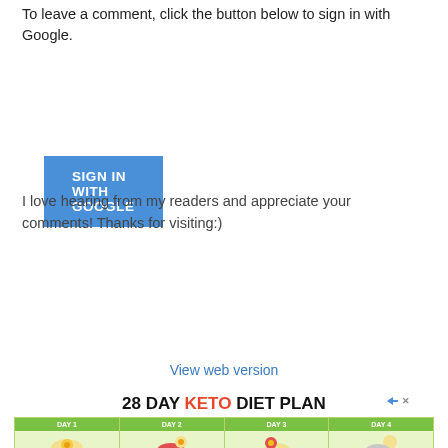To leave a comment, click the button below to sign in with Google.
[Figure (other): Blue 'SIGN IN WITH GOOGLE' button]
I love hearing from my readers and appreciate your comments! Thanks for visiting:)
[Figure (other): Navigation bar with left arrow button, Home button, and right arrow button]
View web version
[Figure (infographic): 28 DAY KETO DIET PLAN advertisement showing a 4-column grid with DAY 1, DAY 2, DAY 3, DAY 4, each column showing BREAKFAST and LUNCH meal plans with food images and item lists]